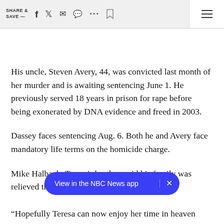SHARE & SAVE —  [social icons]
His uncle, Steven Avery, 44, was convicted last month of her murder and is awaiting sentencing June 1. He previously served 18 years in prison for rape before being exonerated by DNA evidence and freed in 2003.
Dassey faces sentencing Aug. 6. Both he and Avery face mandatory life terms on the homicide charge.
Mike Halbach, Teresa's brother, said his family was relieved th
[Figure (screenshot): Blue pill-shaped banner overlay: 'View in the NBC News app' with an × close button on the right]
“Hopefully Teresa can now enjoy her time in heaven